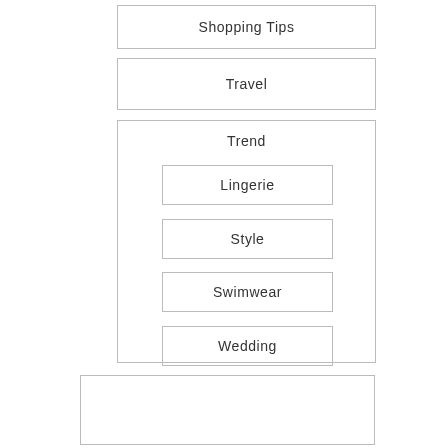Shopping Tips
Travel
Trend
Lingerie
Style
Swimwear
Wedding
[Figure (other): Empty box at bottom of page]